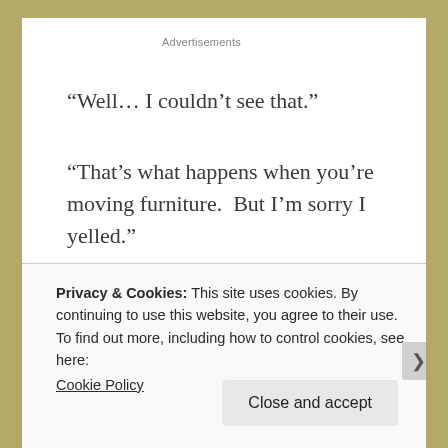Advertisements
“Well… I couldn’t see that.”
“That’s what happens when you’re moving furniture.  But I’m sorry I yelled.”
“Are you hurt?”
Privacy & Cookies: This site uses cookies. By continuing to use this website, you agree to their use.
To find out more, including how to control cookies, see here:
Cookie Policy